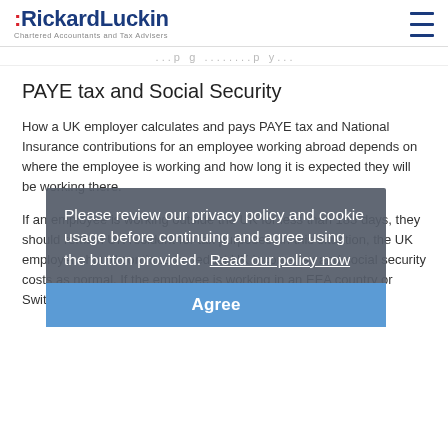RickardLuckin Chartered Accountants and Tax Advisers
...page navigation partial text...
PAYE tax and Social Security
How a UK employer calculates and pays PAYE tax and National Insurance contributions for an employee working abroad depends on where the employee is working and how long it is expected they will be working there.
If an employee is working outside the UK for less than 183 days, they should remain UK resident for tax purposes. In this situation, the UK employer should continue to deduct UK income tax and social security costs as normal. If the employee is working in an EEA country or Switzerland then the UK employer should also apply
Please review our privacy policy and cookie usage before continuing and agree using the button provided.  Read our policy now
Agree